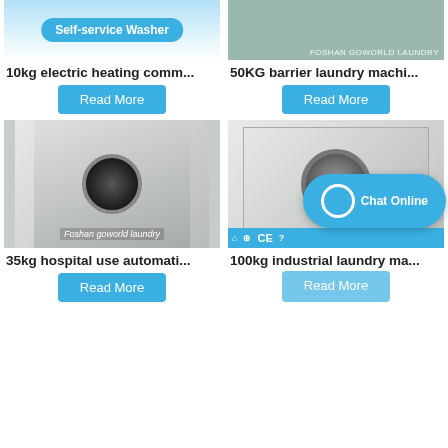[Figure (photo): Top left product image showing self-service washer with blue badge label 'Self-service Washer']
[Figure (photo): Top right product image showing industrial laundry machine with 'FOSHAN GOWORLD LAUNDRY' watermark]
10kg electric heating comm...
50KG barrier laundry machi...
Read More
Read More
[Figure (photo): Bottom left dryer machine by Foshan goworld laundry]
[Figure (photo): Bottom right 100kg industrial washing machine with CE certification bar and chat bubble overlay]
35kg hospital use automati...
100kg industrial laundry ma...
Read More
Read More
Chat Online